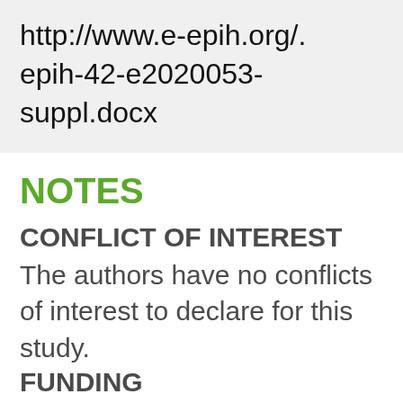http://www.e-epih.org/. epih-42-e2020053-suppl.docx
NOTES
CONFLICT OF INTEREST
The authors have no conflicts of interest to declare for this study.
FUNDING
This paper was supported